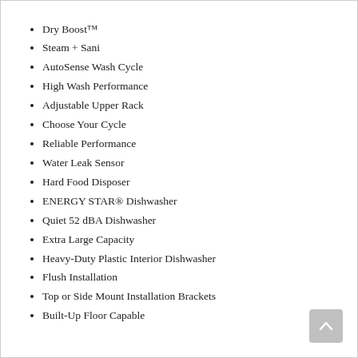Dry Boost™
Steam + Sani
AutoSense Wash Cycle
High Wash Performance
Adjustable Upper Rack
Choose Your Cycle
Reliable Performance
Water Leak Sensor
Hard Food Disposer
ENERGY STAR® Dishwasher
Quiet 52 dBA Dishwasher
Extra Large Capacity
Heavy-Duty Plastic Interior Dishwasher
Flush Installation
Top or Side Mount Installation Brackets
Built-Up Floor Capable